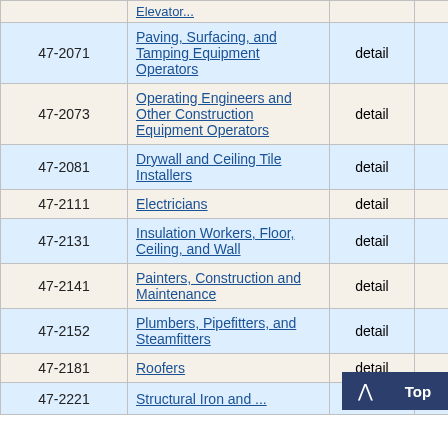| Code | Occupation | Level | Employment | ... |
| --- | --- | --- | --- | --- |
| 47-2071 | Paving, Surfacing, and Tamping Equipment Operators | detail | 130 | 17... |
| 47-2073 | Operating Engineers and Other Construction Equipment Operators | detail | 650 | 9... |
| 47-2081 | Drywall and Ceiling Tile Installers | detail | 130 | 20... |
| 47-2111 | Electricians | detail | 1,240 | 3... |
| 47-2131 | Insulation Workers, Floor, Ceiling, and Wall | detail | 120 | 22... |
| 47-2141 | Painters, Construction and Maintenance | detail | 820 | 1... |
| 47-2152 | Plumbers, Pipefitters, and Steamfitters | detail | 810 | 3... |
| 47-2181 | Roofers | detail | 19... |  |
| 47-2221 | Structural Iron and ... | detail | 120 | 30... |